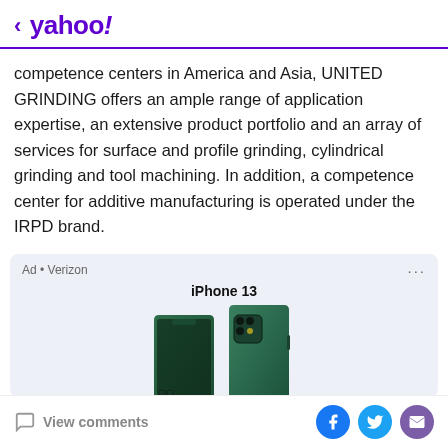< yahoo!
competence centers in America and Asia, UNITED GRINDING offers an ample range of application expertise, an extensive product portfolio and an array of services for surface and profile grinding, cylindrical grinding and tool machining. In addition, a competence center for additive manufacturing is operated under the IRPD brand.
[Figure (screenshot): Advertisement for Verizon featuring iPhone 13 green smartphones against a light blue-gray background. Shows two green iPhone 13 devices from above.]
View comments